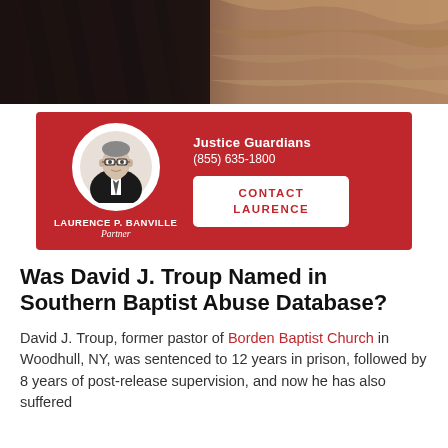[Figure (photo): Dark atmospheric banner photo showing a dark textured surface on the left and sandy/rocky texture on the right, sepia/dark tones]
[Figure (infographic): Red business card for Laurence P. Banville, Partner at Justice Guardians, phone (855) 635-1800, with circular headshot and Contact Laurence button]
Was David J. Troup Named in Southern Baptist Abuse Database?
David J. Troup, former pastor of Borden Baptist Church in Woodhull, NY, was sentenced to 12 years in prison, followed by 8 years of post-release supervision, and now he has also suffered...